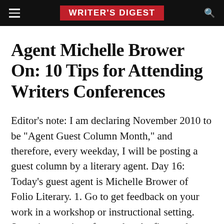WRITER'S DIGEST
Agent Michelle Brower On: 10 Tips for Attending Writers Conferences
Editor's note: I am declaring November 2010 to be "Agent Guest Column Month," and therefore, every weekday, I will be posting a guest column by a literary agent. Day 16: Today's guest agent is Michelle Brower of Folio Literary. 1. Go to get feedback on your work in a workshop or instructional setting. Sometimes writers forget that the first and most important step in starting a writing